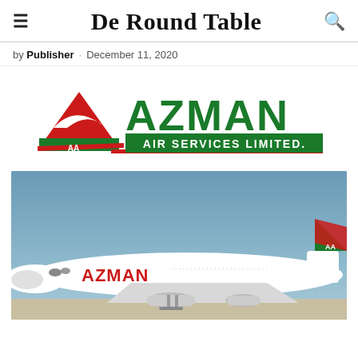De Round Table
by Publisher · December 11, 2020
[Figure (logo): Azman Air Services Limited logo with stylized tail fin in red and green, letters AA, and green AZMAN text with AIR SERVICES LIMITED. banner]
[Figure (photo): Azman Air branded Boeing aircraft on tarmac with blue sky, showing red AZMAN livery on fuselage and green/red tail fin with AA logo]